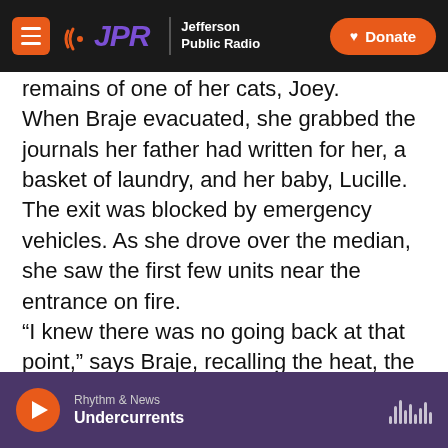JPR Jefferson Public Radio | Donate
remains of one of her cats, Joey.
When Braje evacuated, she grabbed the journals her father had written for her, a basket of laundry, and her baby, Lucille. The exit was blocked by emergency vehicles. As she drove over the median, she saw the first few units near the entrance on fire.
“I knew there was no going back at that point,” says Braje, recalling the heat, the wind, the smell. “The only word I can think to describe it is apocalyptic.”
After enduring the trauma of fleeing a fast-moving fire, thousands of people have had to confront
Rhythm & News
Undercurrents